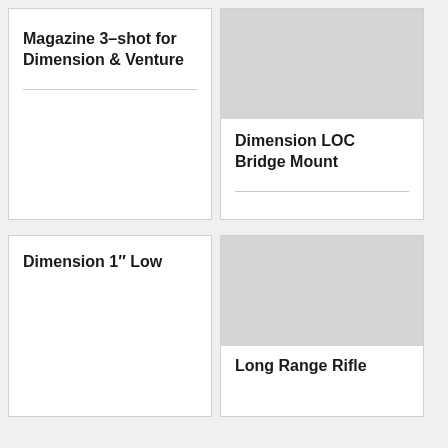[Figure (other): Product card: Magazine 3-shot for Dimension & Venture - no product image shown, text only]
Magazine 3–shot for Dimension & Venture
[Figure (other): Product card: Dimension LOC Bridge Mount - grey placeholder image on top]
Dimension LOC Bridge Mount
[Figure (other): Product card: Dimension 1" Low - no product image visible, card partially shown]
Dimension 1" Low
[Figure (other): Product card: Long Range Rifle - grey placeholder image on top, card partially shown]
Long Range Rifle